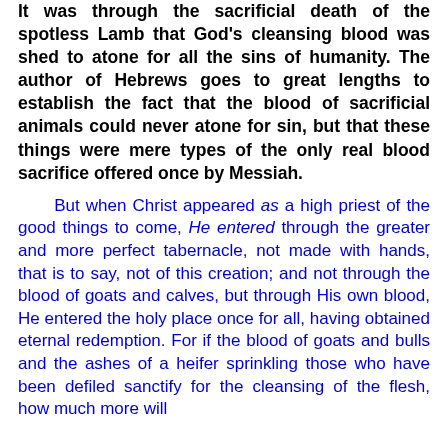It was through the sacrificial death of the spotless Lamb that God's cleansing blood was shed to atone for all the sins of humanity. The author of Hebrews goes to great lengths to establish the fact that the blood of sacrificial animals could never atone for sin, but that these things were mere types of the only real blood sacrifice offered once by Messiah.
But when Christ appeared as a high priest of the good things to come, He entered through the greater and more perfect tabernacle, not made with hands, that is to say, not of this creation; and not through the blood of goats and calves, but through His own blood, He entered the holy place once for all, having obtained eternal redemption. For if the blood of goats and bulls and the ashes of a heifer sprinkling those who have been defiled sanctify for the cleansing of the flesh, how much more will